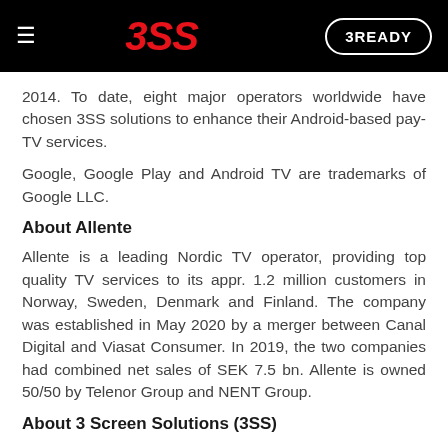3SS | 3READY
2014. To date, eight major operators worldwide have chosen 3SS solutions to enhance their Android-based pay-TV services.
Google, Google Play and Android TV are trademarks of Google LLC.
About Allente
Allente is a leading Nordic TV operator, providing top quality TV services to its appr. 1.2 million customers in Norway, Sweden, Denmark and Finland. The company was established in May 2020 by a merger between Canal Digital and Viasat Consumer. In 2019, the two companies had combined net sales of SEK 7.5 bn. Allente is owned 50/50 by Telenor Group and NENT Group.
About 3 Screen Solutions (3SS)